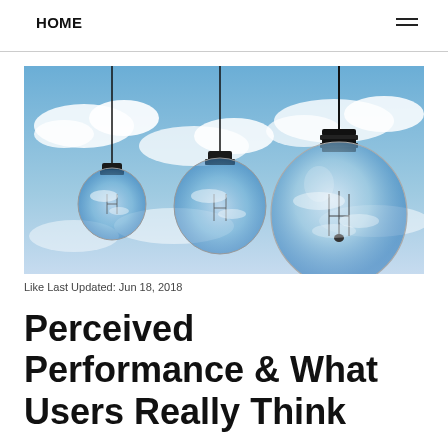HOME
[Figure (photo): Three clear glass light bulbs hanging by wires against a blue sky with white clouds. The bulbs reflect the sky and clouds inside them.]
Like Last Updated: Jun 18, 2018
Perceived Performance & What Users Really Think